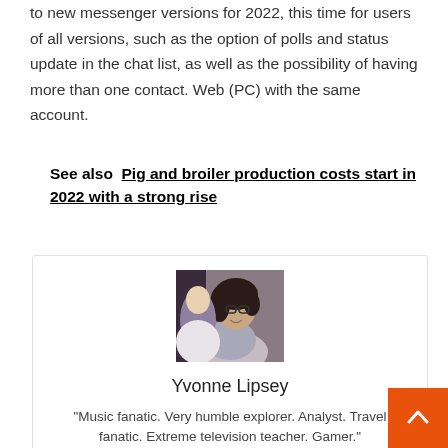to new messenger versions for 2022, this time for users of all versions, such as the option of polls and status update in the chat list, as well as the possibility of having more than one contact. Web (PC) with the same account.
See also  Pig and broiler production costs start in 2022 with a strong rise
[Figure (photo): Photo of Yvonne Lipsey, a woman with dark curly hair and glasses, wearing a light-colored jacket, smiling and leaning forward]
Yvonne Lipsey
"Music fanatic. Very humble explorer. Analyst. Travel fanatic. Extreme television teacher. Gamer."